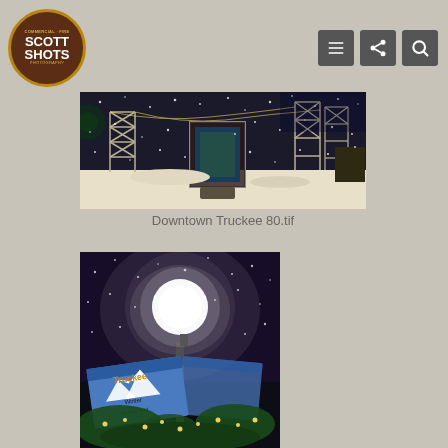Scott Shots Photography - navigation header with logo and icons
[Figure (photo): Night snowy scene of downtown Truckee with metal truss structures and string lights, snow-covered ground, dark sky with falling snow]
Downtown Truckee 80.tif
[Figure (photo): Night photo of a street lamp with a glowing globe light above a Truckee Winter Wonderland banner, snow falling, decorated with green branches and lights]